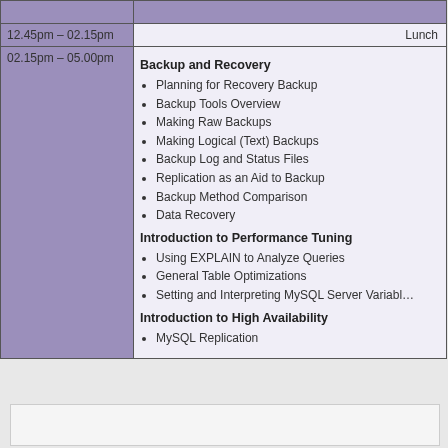| Time | Content |
| --- | --- |
| 12.45pm – 02.15pm | Lunch |
| 02.15pm – 05.00pm | Backup and Recovery
• Planning for Recovery Backup
• Backup Tools Overview
• Making Raw Backups
• Making Logical (Text) Backups
• Backup Log and Status Files
• Replication as an Aid to Backup
• Backup Method Comparison
• Data Recovery
Introduction to Performance Tuning
• Using EXPLAIN to Analyze Queries
• General Table Optimizations
• Setting and Interpreting MySQL Server Variables
Introduction to High Availability
• MySQL Replication |